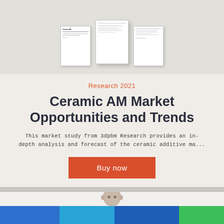[Figure (illustration): Preview thumbnails of a market report document pages on a light beige background]
Research 2021
Ceramic AM Market Opportunities and Trends
This market study from 3dpbm Research provides an in-depth analysis and forecast of the ceramic additive ma...
Buy now
[Figure (photo): Partial photo of a person's head and a color bar footer in blue, light blue, dark blue, and green]